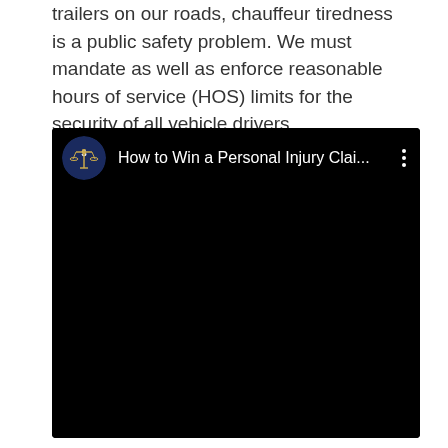trailers on our roads, chauffeur tiredness is a public safety problem. We must mandate as well as enforce reasonable hours of service (HOS) limits for the security of all vehicle drivers.
[Figure (screenshot): Embedded video player (YouTube-style) with black background. Top bar shows a circular channel logo (blue/dark with scales of justice icon), the title 'How to Win a Personal Injury Clai...' in white text, and a three-dot vertical menu icon. The rest of the player is black.]